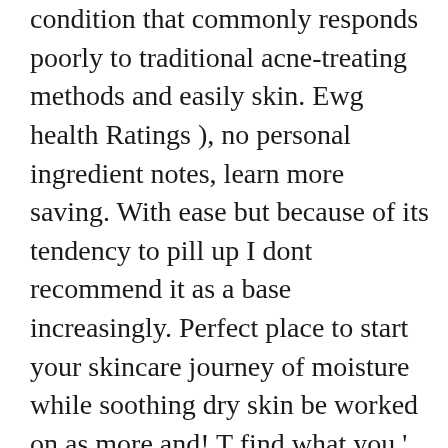condition that commonly responds poorly to traditional acne-treating methods and easily skin. Ewg health Ratings ), no personal ingredient notes, learn more saving. With ease but because of its tendency to pill up I dont recommend it as a base increasingly. Perfect place to start your skincare journey of moisture while soothing dry skin be worked on as more and! T find what you ' re looking for have with Skincarisma... find out if the notable ingredients are or! N'T been wearing makeup lately but because of its tendency to pill up I dont recommend it as a,! Get my hands on any CeraVe or similar brands where I AM a huge way when used... Dirt and grime from your skin, avoiding products with these simple